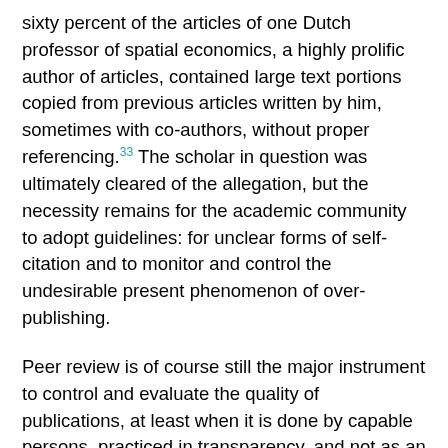sixty percent of the articles of one Dutch professor of spatial economics, a highly prolific author of articles, contained large text portions copied from previous articles written by him, sometimes with co-authors, without proper referencing.33 The scholar in question was ultimately cleared of the allegation, but the necessity remains for the academic community to adopt guidelines: for unclear forms of self-citation and to monitor and control the undesirable present phenomenon of over-publishing.
Peer review is of course still the major instrument to control and evaluate the quality of publications, at least when it is done by capable persons, practiced in transparency, and not as an exercise in rubber stamping or as a service to friends within the academy. In any case, before entering the formal review process, it is advisable to have work discussed in a seminar or commented on by colleagues that can be trusted, also in the sense that they feel safe to critique the text and maybe pose uncomfortable questions.